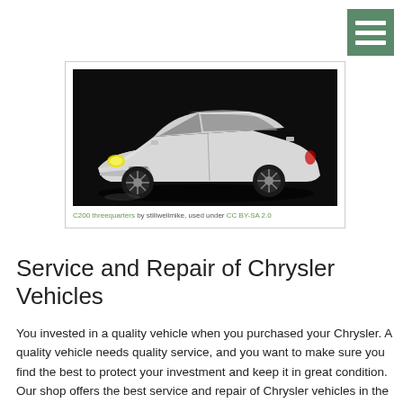[Figure (photo): White Chrysler sedan photographed against a dark background, three-quarter front view. Caption reads: C200 threequarters by stillwellmike, used under CC BY-SA 2.0]
C200 threequarters by stillwellmike, used under CC BY-SA 2.0
Service and Repair of Chrysler Vehicles
You invested in a quality vehicle when you purchased your Chrysler. A quality vehicle needs quality service, and you want to make sure you find the best to protect your investment and keep it in great condition. Our shop offers the best service and repair of Chrysler vehicles in the